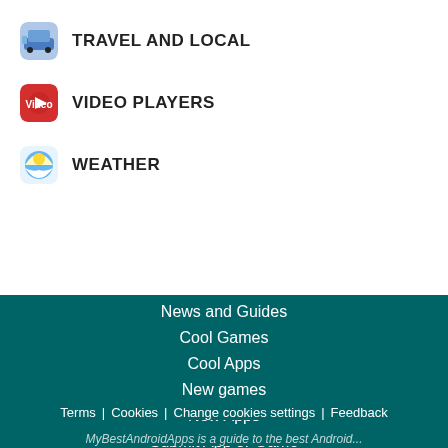TRAVEL AND LOCAL
VIDEO PLAYERS
WEATHER
News and Guides
Cool Games
Cool Apps
New games
New Apps
Submit App or Game
Terms | Cookies | Change cookies settings | Feedback
MyBestAndroidApps is a guide to the best Android...